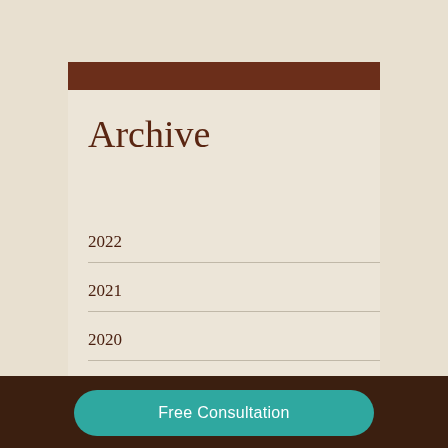Archive
2022
2021
2020
2019
2018
Free Consultation